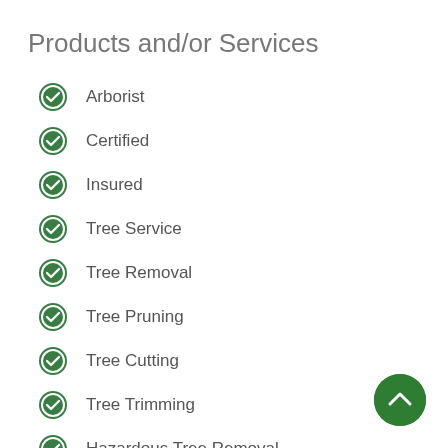Products and/or Services
Arborist
Certified
Insured
Tree Service
Tree Removal
Tree Pruning
Tree Cutting
Tree Trimming
Hazardous Tree Removal
[Figure (illustration): Green circular button with upward chevron arrow, floating action button at bottom right]